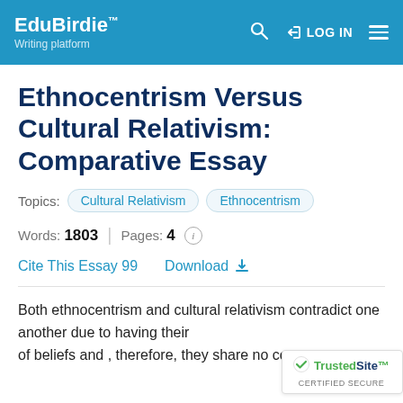EduBirdie™ Writing platform | LOG IN
Ethnocentrism Versus Cultural Relativism: Comparative Essay
Topics: Cultural Relativism  Ethnocentrism
Words: 1803 | Pages: 4
Cite This Essay 99  Download
Both ethnocentrism and cultural relativism contradict one another due to having their of beliefs and , therefore, they share no co